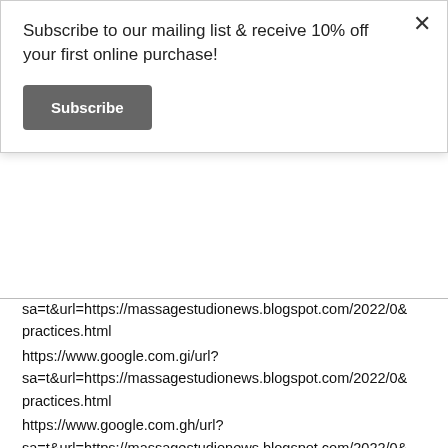Subscribe to our mailing list & receive 10% off your first online purchase!
Subscribe
sa=t&url=https://massagestudionews.blogspot.com/2022/0… practices.html
https://www.google.com.gi/url?
sa=t&url=https://massagestudionews.blogspot.com/2022/0…
practices.html
https://www.google.com.gh/url?
sa=t&url=https://massagestudionews.blogspot.com/2022/0…
practices.html
https://www.google.com.fj/url?
sa=t&url=https://massagestudionews.blogspot.com/2022/0…
practices.html
https://www.google.com.et/url?
sa=t&url=https://massagestudionews.blogspot.com/2022/0…